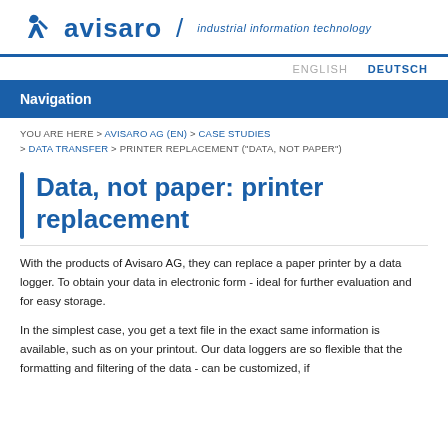avisaro / industrial information technology
ENGLISH   DEUTSCH
Navigation
YOU ARE HERE > AVISARO AG (EN) > CASE STUDIES > DATA TRANSFER > PRINTER REPLACEMENT ("DATA, NOT PAPER")
Data, not paper: printer replacement
With the products of Avisaro AG, they can replace a paper printer by a data logger. To obtain your data in electronic form - ideal for further evaluation and for easy storage.
In the simplest case, you get a text file in the exact same information is available, such as on your printout. Our data loggers are so flexible that the formatting and filtering of the data - can be customized, if